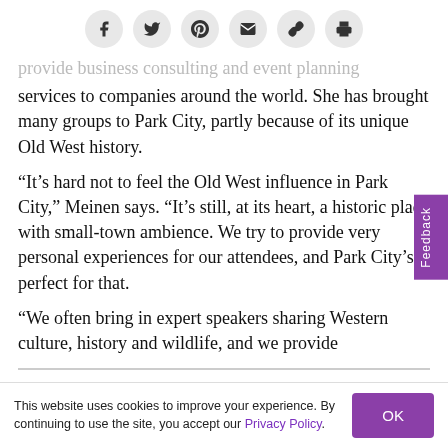[Figure (other): Social sharing buttons: Facebook, Twitter, Pinterest, Email, Link, Print]
provide business consulting and event planning services to companies around the world. She has brought many groups to Park City, partly because of its unique Old West history.
“It’s hard not to feel the Old West influence in Park City,” Meinen says. “It’s still, at its heart, a historic place with small-town ambience. We try to provide very personal experiences for our attendees, and Park City’s perfect for that.
“We often bring in expert speakers sharing Western culture, history and wildlife, and we provide
This website uses cookies to improve your experience. By continuing to use the site, you accept our Privacy Policy.